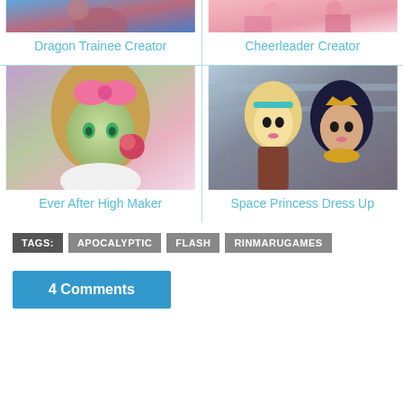[Figure (illustration): Partial thumbnail of Dragon Trainee Creator game]
Dragon Trainee Creator
[Figure (illustration): Partial thumbnail of Cheerleader Creator game]
Cheerleader Creator
[Figure (illustration): Ever After High Maker game thumbnail showing green-skinned character with pink bow]
Ever After High Maker
[Figure (illustration): Space Princess Dress Up game thumbnail showing two princess characters]
Space Princess Dress Up
TAGS: APOCALYPTIC FLASH RINMARUGAMES
4 Comments